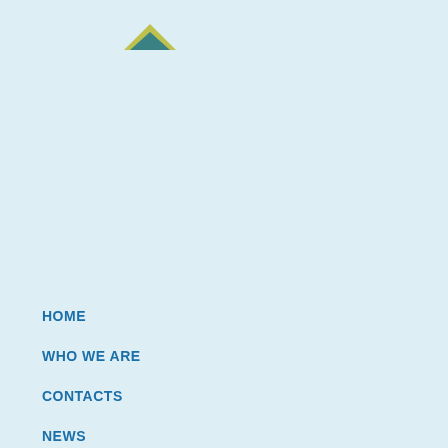[Figure (logo): Small triangular house/roof logo icon in olive-green and teal colors, pointing upward]
HOME
WHO WE ARE
CONTACTS
NEWS